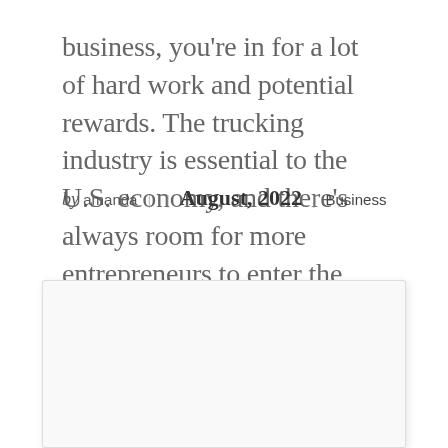business, you're in for a lot of hard work and potential rewards. The trucking industry is essential to the U.S. economy, and there's always room for more entrepreneurs to enter the market and succeed. This article will give...
by amanda | | August, 2022 | Business
[Figure (other): A white/light gray card or content box with a subtle border and drop shadow, appearing blank in this view.]